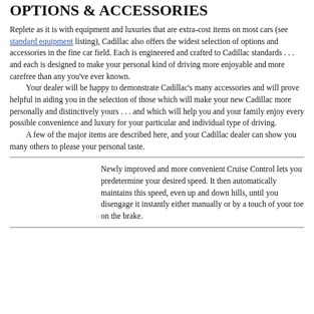OPTIONS & ACCESSORIES
Replete as it is with equipment and luxuries that are extra-cost items on most cars (see standard equipment listing), Cadillac also offers the widest selection of options and accessories in the fine car field. Each is engineered and crafted to Cadillac standards . . . and each is designed to make your personal kind of driving more enjoyable and more carefree than any you've ever known.
    Your dealer will be happy to demonstrate Cadillac's many accessories and will prove helpful in aiding you in the selection of those which will make your new Cadillac more personally and distinctively yours . . . and which will help you and your family enjoy every possible convenience and luxury for your particular and individual type of driving.
    A few of the major items are described here, and your Cadillac dealer can show you many others to please your personal taste.
Newly improved and more convenient Cruise Control lets you predetermine your desired speed. It then automatically maintains this speed, even up and down hills, until you disengage it instantly either manually or by a touch of your toe on the brake.